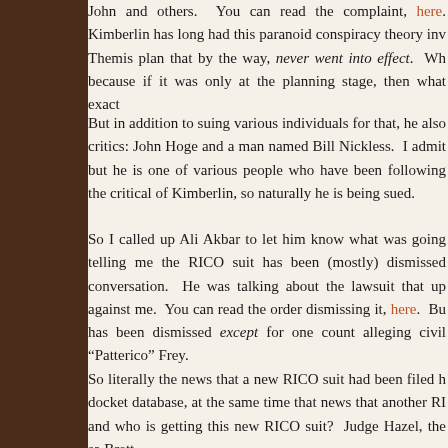John and others.  You can read the complaint, here. Kimberlin has long had this paranoid conspiracy theory inv... Themis plan that by the way, never went into effect.  Wh... because if it was only at the planning stage, then what exact...
But in addition to suing various individuals for that, he also critics: John Hoge and a man named Bill Nickless.  I admit but he is one of various people who have been following the critical of Kimberlin, so naturally he is being sued.
So I called up Ali Akbar to let him know what was going telling me the RICO suit has been (mostly) dismissed conversation.  He was talking about the lawsuit that up against me.  You can read the order dismissing it, here.  Bu has been dismissed except for one count alleging civil "Patterico" Frey.
So literally the news that a new RICO suit had been filed h docket database, at the same time that news that another RI and who is getting this new RICO suit?  Judge Hazel, the sa Brett.